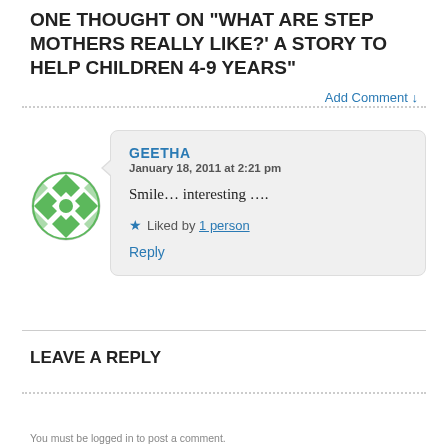ONE THOUGHT ON “WHAT ARE STEP MOTHERS REALLY LIKE?’ A STORY TO HELP CHILDREN 4-9 YEARS”
Add Comment ↓
GEETHA
January 18, 2011 at 2:21 pm

Smile… interesting ….

★ Liked by 1 person

Reply
LEAVE A REPLY
You must be logged in to post a comment.